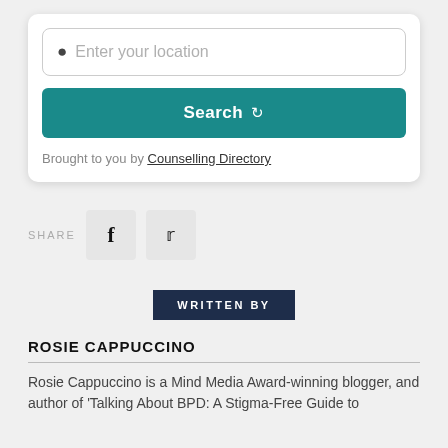Enter your location
Search
Brought to you by Counselling Directory
SHARE
WRITTEN BY
ROSIE CAPPUCCINO
Rosie Cappuccino is a Mind Media Award-winning blogger, and author of 'Talking About BPD: A Stigma-Free Guide to